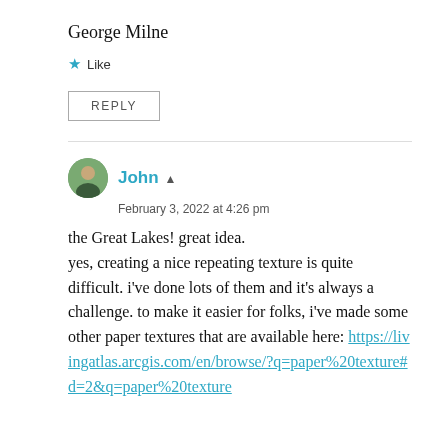George Milne
★ Like
REPLY
John ▲
February 3, 2022 at 4:26 pm
the Great Lakes! great idea.
yes, creating a nice repeating texture is quite difficult. i've done lots of them and it's always a challenge. to make it easier for folks, i've made some other paper textures that are available here: https://livingatlas.arcgis.com/en/browse/?q=paper%20texture#d=2&q=paper%20texture